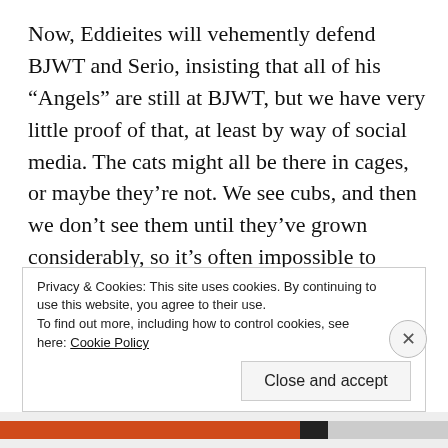Now, Eddieites will vehemently defend BJWT and Serio, insisting that all of his “Angels” are still at BJWT, but we have very little proof of that, at least by way of social media. The cats might all be there in cages, or maybe they’re not. We see cubs, and then we don’t see them until they’ve grown considerably, so it’s often impossible to recognize them even if they’re shown again later. We just don’t know. We do know, however, that to start with, Serio always referred to cubs
Privacy & Cookies: This site uses cookies. By continuing to use this website, you agree to their use.
To find out more, including how to control cookies, see here: Cookie Policy
Close and accept